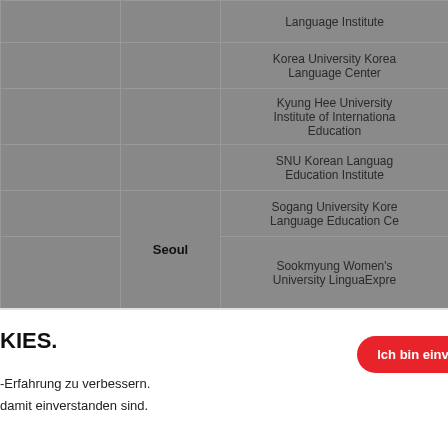|  |  | Institution |
| --- | --- | --- |
|  |  | Language Institute |
|  |  | Korea University Korean Language Center |
|  |  | Kyung Hee University Institute of International Education |
|  |  | SNU Korean Language Education Institute |
|  | Seoul | Sogang University Korean Language Education Center |
|  |  | Sookmyung Women's University LinguaExpre |
KIES.
-Erfahrung zu verbessern.
damit einverstanden sind.
Ich bin einve